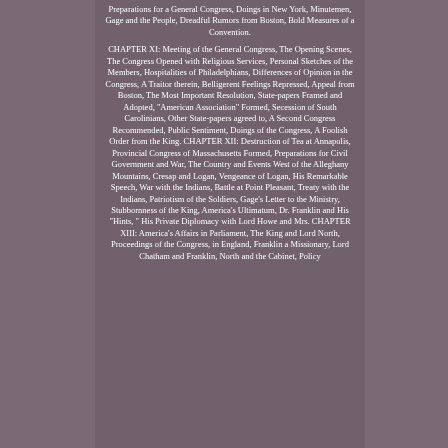Preparations for a General Congress, Doings in New York, Minutemen, Gage and the People, Dreadful Rumors from Boston, Bold Measures of a Convention.
CHAPTER XI: Meeting of the General Congress, The Opening Scenes, The Congress Opened with Religious Services, Personal Sketches of the Members, Hospitalities of Philadelphians, Differences of Opinion in the Congress, A Traitor therein, Belligerent Feelings Repressed, Appeal from Boston, The Most Important Resolution, State-papers Framed and Adopted, "American Association" Formed, Secession of South Carolinians, Other State-papers agreed to, A Second Congress Recommended, Public Sentiment, Doings of the Congress, A Foolish Order from the King. CHAPTER XII: Destruction of Tea at Annapolis, Provincial Congress of Massachusetts Formed, Preparations for Civil Government and War, The Country and Events West of the Alleghany Mountains, Cresap and Logan, Vengeance of Logan, His Remarkable Speech, War with the Indians, Battle at Point Pleasant, Treaty with the Indians, Patriotism of the Soldiers, Gage's Letter to the Ministry, Stubbornness of the King, America's Ultimatum, Dr. Franklin and His "Hints, " His Private Diplomacy with Lord Howe and Mrs. CHAPTER XIII: America's Affairs in Parliament, The King and Lord North, Proceedings of the Congress, in England, Franklin a Missionary, Lord Chatham and Franklin, North and the Cabinet, Policy